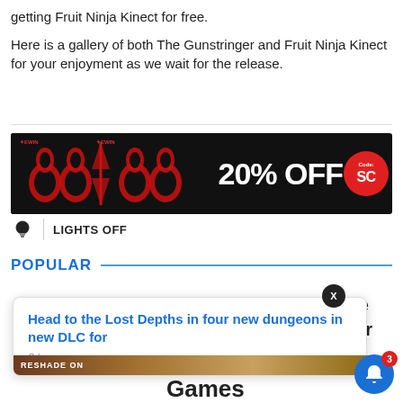getting Fruit Ninja Kinect for free.
Here is a gallery of both The Gunstringer and Fruit Ninja Kinect for your enjoyment as we wait for the release.
[Figure (other): Advertisement banner for gaming chairs showing 20% OFF with code SC on a dark background with red accented chairs]
LIGHTS OFF
POPULAR
[Figure (other): Popup notification card: Head to the Lost Depths in four new dungeons in new DLC for — 8 hours ago, with RESHADE ON label at bottom]
ove
n Your
Games